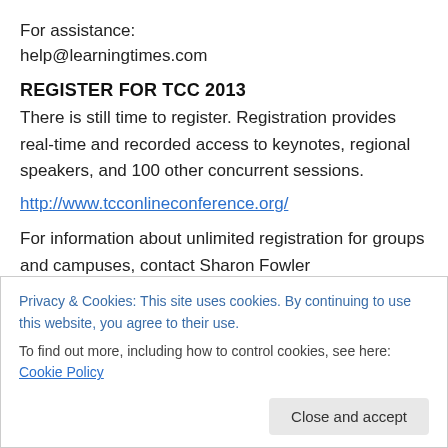For assistance:
help@learningtimes.com
REGISTER FOR TCC 2013
There is still time to register. Registration provides real-time and recorded access to keynotes, regional speakers, and 100 other concurrent sessions.
http://www.tcconlineconference.org/
For information about unlimited registration for groups and campuses, contact Sharon Fowler <fowlers@hawaii.edu>
Privacy & Cookies: This site uses cookies. By continuing to use this website, you agree to their use.
To find out more, including how to control cookies, see here: Cookie Policy
faculty & staff discounted rate.